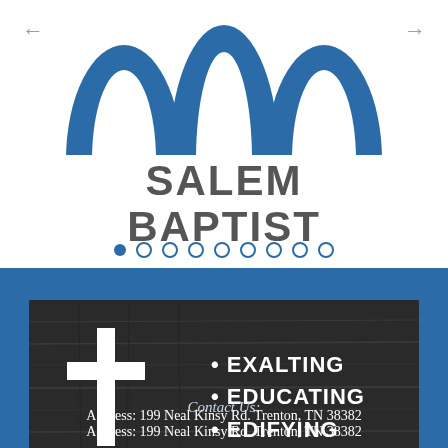[Figure (logo): Salem Baptist church logo with blue arch shapes at the top and the text SALEM BAPTIST below]
← →
• • • • • • • • (carousel dots)
[Figure (illustration): Dark wood-textured banner with a white Christian cross on the left and bullet points reading EXALTING, EDUCATING, EDIFYING on the right]
Contact Us:
Address: 199 Neal Kinsy Rd. Trenton, TN 38382